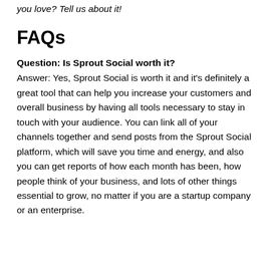you love? Tell us about it!
FAQs
Question: Is Sprout Social worth it?
Answer: Yes, Sprout Social is worth it and it's definitely a great tool that can help you increase your customers and overall business by having all tools necessary to stay in touch with your audience. You can link all of your channels together and send posts from the Sprout Social platform, which will save you time and energy, and also you can get reports of how each month has been, how people think of your business, and lots of other things essential to grow, no matter if you are a startup company or an enterprise.